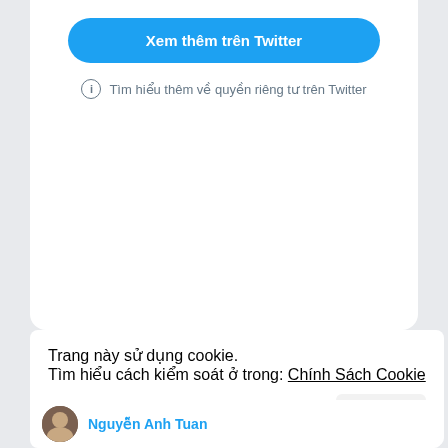[Figure (screenshot): Twitter embedded widget top card with 'Xem thêm trên Twitter' blue button and privacy info link]
Tìm hiểu thêm về quyền riêng tư trên Twitter
Trang này sử dụng cookie.
Tìm hiểu cách kiểm soát ở trong: Chính Sách Cookie
Đồng ý
Nguyễn Anh Tuan